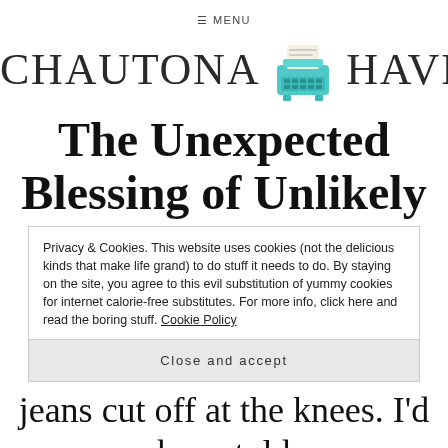≡ MENU
[Figure (logo): Chautona Havig logo with teal typewriter icon between the name halves]
The Unexpected Blessing of Unlikely
Privacy & Cookies. This website uses cookies (not the delicious kinds that make life grand) to do stuff it needs to do. By staying on the site, you agree to this evil substitution of yummy cookies for internet calorie-free substitutes. For more info, click here and read the boring stuff. Cookie Policy
Close and accept
jeans cut off at the knees. I'd been told